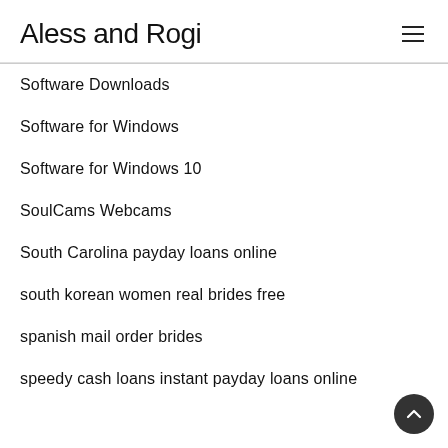Aless and Rogi
Software Downloads
Software for Windows
Software for Windows 10
SoulCams Webcams
South Carolina payday loans online
south korean women real brides free
spanish mail order brides
speedy cash loans instant payday loans online